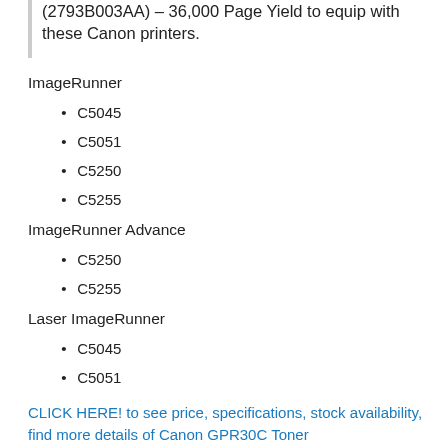(2793B003AA) – 36,000 Page Yield to equip with these Canon printers.
ImageRunner
C5045
C5051
C5250
C5255
ImageRunner Advance
C5250
C5255
Laser ImageRunner
C5045
C5051
CLICK HERE! to see price, specifications, stock availability, find more details of Canon GPR30C Toner